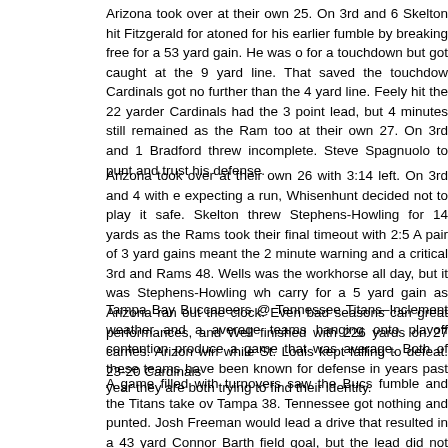Arizona took over at their own 25. On 3rd and 6 Skelton hit Fitzgerald for atoned for his earlier fumble by breaking free for a 53 yard gain. He was o for a touchdown but got caught at the 9 yard line. That saved the touchdow Cardinals got no further than the 4 yard line. Feely hit the 22 yarder Cardinals had the 3 point lead, but 4 minutes still remained as the Ram too at their own 27. On 3rd and 1 Bradford threw incomplete. Steve Spagnuolo to punt and trust his defense.
Arizona took over at their own 26 with 3:14 left. On 3rd and 4 with e expecting a run, Whisenhunt decided not to play it safe. Skelton threw Stephens-Howling for 14 yards as the Rams took their final timeout with 2:5 A pair of 3 yard gains meant the 2 minute warning and a critical 3rd and Rams 48. Wells was the workhorse all day, but it was Stephens-Howling wh carry for a 5 yard gain as Arizona ran out the clock. Even bad seasons can great performances, and Well finished with 226 yards on 27 carries. Arizon win while St. Louis kept falling to defeat. 23-20 Cardinals
Tampa Bay Buccaneers @ Tennessee Titans–Inclement weather and a average teams hanging onto playoff contention produce a game that was average. Both of these teams have been known for defense in years past year they are both trying to find their identity.
A game filled with turnovers saw the Bucs fumble and the Titans take ov Tampa 38. Tennessee got nothing and punted. Josh Freeman would lead a drive that resulted in a 43 yard Connor Barth field goal, but the lead did not Mariani took the kickoff at the goal line and returned it to the 16. He then ha Campbell, who took it the remaining 84 yards for the touchdown. This was